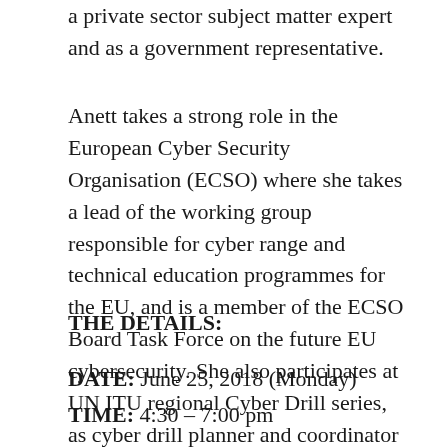a private sector subject matter expert and as a government representative.
Anett takes a strong role in the European Cyber Security Organisation (ECSO) where she takes a lead of the working group responsible for cyber range and technical education programmes for the EU, and is a member of the ECSO Board Task Force on the future EU cybersecurity. She also participates at UN ITU regional Cyber Drill series, as cyber drill planner and coordinator
THE DETAILS:
DATE: June 25, 2018 (Monday)
TIME: 4:30 – 7:00 pm